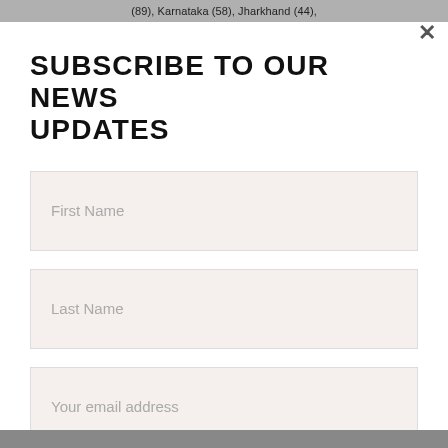(89), Karnataka (58), Jharkhand (44),
SUBSCRIBE TO OUR NEWS UPDATES
First Name
Last Name
Your email address
SIGN UP